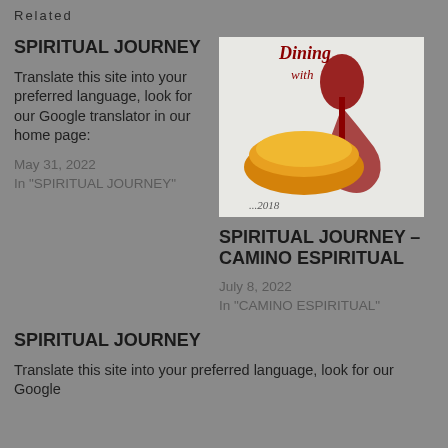Related
SPIRITUAL JOURNEY
Translate this site into your preferred language, look for our Google translator in our home page:
May 31, 2022
In "SPIRITUAL JOURNEY"
[Figure (illustration): Dining image showing bread loaf and wine glass with red wine, with cursive text 'Dining with' at top and partial text at bottom]
SPIRITUAL JOURNEY – CAMINO ESPIRITUAL
July 8, 2022
In "CAMINO ESPIRITUAL"
SPIRITUAL JOURNEY
Translate this site into your preferred language, look for our Google